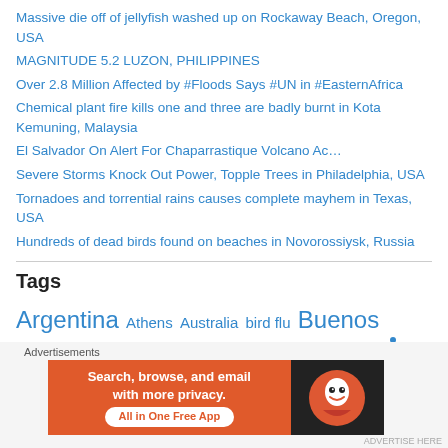Massive die off of jellyfish washed up on Rockaway Beach, Oregon, USA
MAGNITUDE 5.2 LUZON, PHILIPPINES
Over 2.8 Million Affected by #Floods Says #UN in #EasternAfrica
Chemical plant fire kills one and three are badly burnt in Kota Kemuning, Malaysia
El Salvador On Alert For Chaparrastique Volcano Ac…
Severe Storms Knock Out Power, Topple Trees in Philadelphia, USA
Tornadoes and torrential rains causes complete mayhem in Texas, USA
Hundreds of dead birds found on beaches in Novorossiysk, Russia
Tags
Argentina Athens Australia bird flu Buenos Aires California Canada
[Figure (infographic): DuckDuckGo advertisement banner: orange background with text 'Search, browse, and email with more privacy. All in One Free App' and DuckDuckGo logo on dark background]
Advertisements